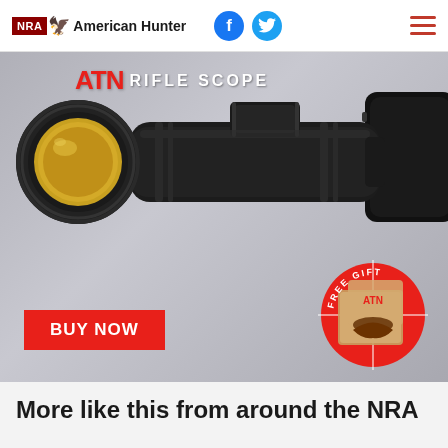NRA American Hunter
[Figure (photo): ATN rifle scope advertisement with 'RIFLE SCOPE' text at top, a black tactical rifle scope with gold-tinted front lens, a 'BUY NOW' red button at bottom left, and a 'FREE GIFT' red circular badge at bottom right showing a fox shooting target and ATN logo.]
More like this from around the NRA